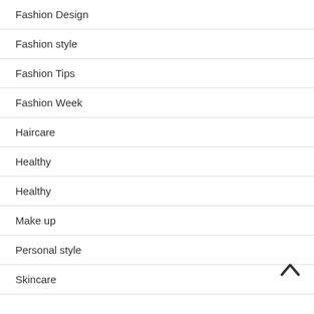Fashion Design
Fashion style
Fashion Tips
Fashion Week
Haircare
Healthy
Healthy
Make up
Personal style
Skincare